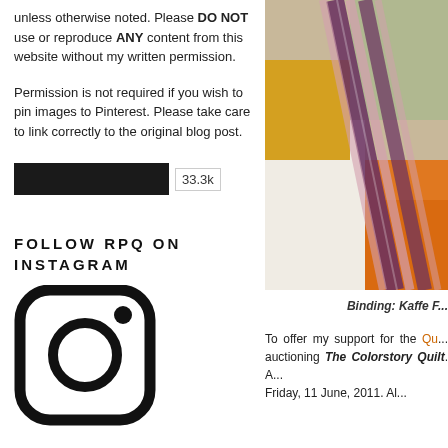unless otherwise noted. Please DO NOT use or reproduce ANY content from this website without my written permission.
Permission is not required if you wish to pin images to Pinterest. Please take care to link correctly to the original blog post.
33.3k
FOLLOW RPQ ON INSTAGRAM
[Figure (photo): Close-up photo of a quilt with orange, white, and purple striped binding with Kaffe Fassett fabrics]
Binding: Kaffe F...
To offer my support for the Qu... auctioning The Colorstory Quilt. A... Friday, 11 June, 2011. All...
[Figure (illustration): Instagram icon outline drawing - rounded square with circle and dot inside]